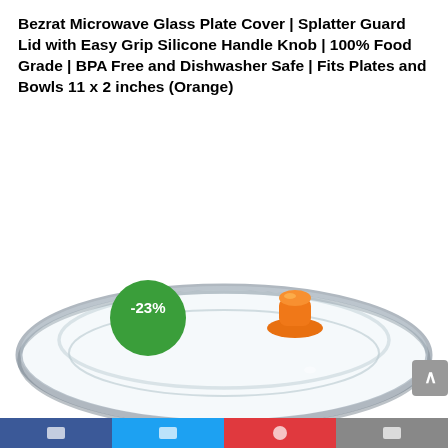Bezrat Microwave Glass Plate Cover | Splatter Guard Lid with Easy Grip Silicone Handle Knob | 100% Food Grade | BPA Free and Dishwasher Safe | Fits Plates and Bowls 11 x 2 inches (Orange)
[Figure (photo): Product photo of a clear glass microwave plate cover/splatter guard with an orange silicone handle knob in the center. A green circular badge overlaid on the left side shows '-23%' discount. The lid is shown from a slight angle, revealing its oval/elliptical shape with a thick glass rim.]